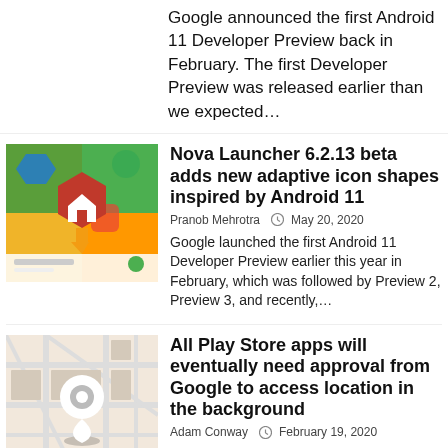Google announced the first Android 11 Developer Preview back in February. The first Developer Preview was released earlier than we expected...
[Figure (screenshot): Nova Launcher app screenshot showing adaptive icon shapes with colorful geometric icons on a home screen background]
Nova Launcher 6.2.13 beta adds new adaptive icon shapes inspired by Android 11
Pranob Mehrotra  May 20, 2020
Google launched the first Android 11 Developer Preview earlier this year in February, which was followed by Preview 2, Preview 3, and recently,...
[Figure (illustration): Map screenshot with a white location pin marker in the center]
All Play Store apps will eventually need approval from Google to access location in the background
Adam Conway  February 19, 2020